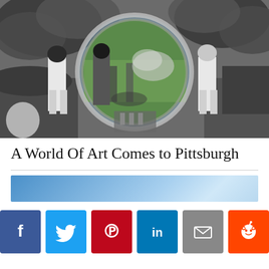[Figure (photo): Black and white collage-style photo showing historical figures (workers/laborers) in the foreground against an industrial/mining landscape with dramatic clouds, overlaid with a circular lens or portal effect revealing a colorful scene of people and machinery. Two figures in white stand prominently on the right and left sides.]
A World Of Art Comes to Pittsburgh
[Figure (photo): Blue gradient banner image, light blue sky-like gradient from darker blue on left to lighter/white in center-right.]
[Figure (infographic): Row of social sharing buttons: Facebook (dark blue, f), Twitter (light blue, bird), Pinterest (red, p), LinkedIn (blue, in), Email (gray, envelope), Reddit (orange, alien mascot)]